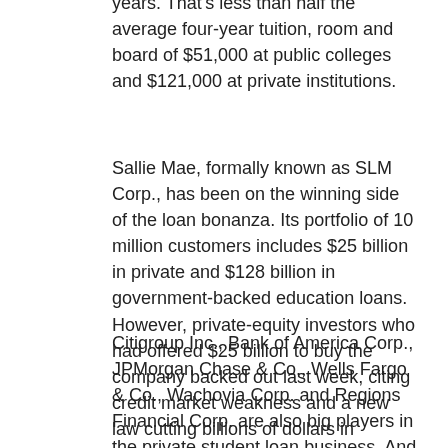years. That's less than half the average four-year tuition, room and board of $51,000 at public colleges and $121,000 at private institutions.
Sallie Mae, formally known as SLM Corp., has been on the winning side of the loan bonanza. Its portfolio of 10 million customers includes $25 billion in private and $128 billion in government-backed education loans. However, private-equity investors who had offered $25 billion to buy the company backed out last week, citing credit market weakness and a new law cutting billions of dollars in subsidies to student lenders.
Citigroup Inc., Bank of America Corp., JPMorgan Chase & Co., Wells Fargo & Co., Wachovia Corp. and Regions Financial Corp. are also big players in the private student loan business. And there has been an explosion in specialized student loan lenders, such as EduCap, Nelnet Inc., NextStudent Inc., Student Loan Corp., College Loan Corp., CIT Group Inc. and Education